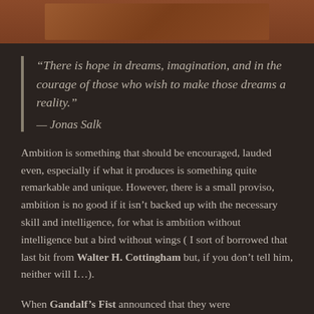[Figure (photo): Brown/orange image at top of page, partially visible, appears to be a decorative or thematic image]
“There is hope in dreams, imagination, and in the courage of those who wish to make those dreams a reality.” — Jonas Salk
Ambition is something that should be encouraged, lauded even, especially if what it produces is something quite remarkable and unique. However, there is a small proviso, ambition is no good if it isn’t backed up with the necessary skill and intelligence, for what is ambition without intelligence but a bird without wings ( I sort of borrowed that last bit from Walter H. Cottingham but, if you don’t tell him, neither will I…).
When Gandalf’s Fist announced that they were